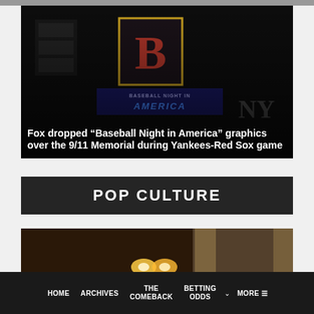[Figure (photo): Dark photo showing Boston Red Sox 'Baseball Night in America' graphics/signage overlay, with stadium scoreboard visible in background]
Fox dropped “Baseball Night in America” graphics over the 9/11 Memorial during Yankees-Red Sox game
POP CULTURE
[Figure (photo): Partial photo showing a dimly lit interior room with warm glowing lights]
HOME   ARCHIVES   THE COMEBACK   BETTING ODDS   MORE